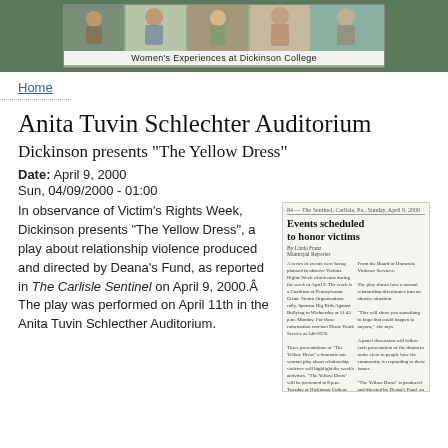[Figure (photo): Banner image for Women's Experiences at Dickinson College website, showing a collage of photos of women with a semi-transparent white text overlay reading 'Women's Experiences at Dickinson College']
Home
Anita Tuvin Schlechter Auditorium
Dickinson presents "The Yellow Dress"
Date:  April 9, 2000
Sun, 04/09/2000 - 01:00
In observance of Victim's Rights Week, Dickinson presents "The Yellow Dress", a play about relationship violence produced and directed by Deana's Fund, as reported in The Carlisle Sentinel on April 9, 2000.Â  The play was performed on April 11th in the Anita Tuvin Schlecther Auditorium.
[Figure (photo): Newspaper clipping from The Sentinel with headline 'Events scheduled to honor victims' by Linda Franz, showing a newspaper article about events for Victim's Rights Week]